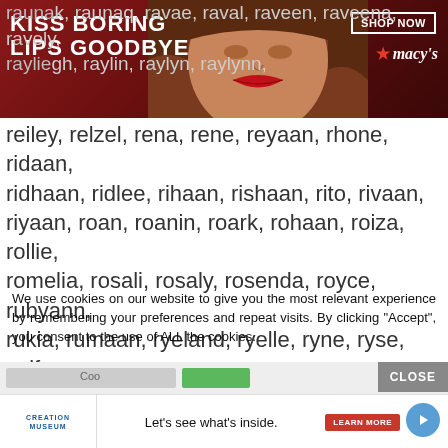[Figure (photo): Advertisement banner for Macy's lipstick product with text 'KISS BORING LIPS GOODBYE' and 'SHOP NOW', featuring a woman's face with red lips.]
rauna, raunak, raunaq, ravae, raval, raveen, raveena, ravely,
raylie, rayliegh, raylin, raylyn, raylynn,
reiley, relzel, rena, rene, reyaan, rhone, ridaan, ridhaan, ridlee, rihaan, rishaan, rito, rivaan, riyaan, roan, roanin, roark, rohaan, roiza, rollie, romelia, rosali, rosaly, rosenda, royce, rubyann, rukia, rumaan, ryeland, ryelle, ryne, ryse, saifan, saige, sailor, saint, sakura, saleem, salena, salia, sallie, samira, samyra, sanara, sanayah, sanne, sarahy, sarai, sarina, sariya, sayla, sayler, saylor,
We use cookies on our website to give you the most relevant experience by remembering your preferences and repeat visits. By clicking “Accept”, you consent to the use of ALL the cookies.
Do not sell my personal information.
[Figure (screenshot): Cookie consent bar with input field, green button, and CLOSE button, and bottom advertisement for Creation Museum with tagline 'Let's see what's inside.']